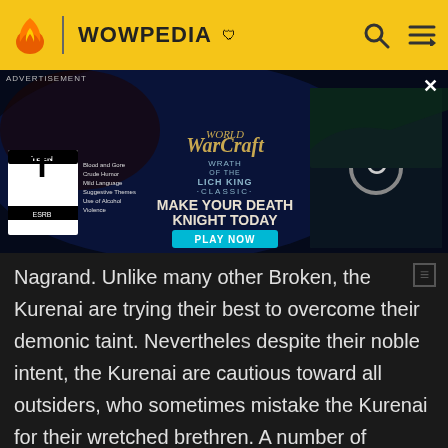WOWPEDIA
[Figure (screenshot): World of Warcraft Wrath of the Lich King Classic advertisement banner with game artwork and ESRB Teen rating. Shows 'MAKE YOUR DEATH KNIGHT TODAY' with a 'PLAY NOW' button. Right side shows a loading screen thumbnail.]
Nagrand. Unlike many other Broken, the Kurenai are trying their best to overcome their demonic taint. Nevertheless, despite their noble intent, the Kurenai are cautious toward all outsiders, who sometimes mistake the Kurenai for their wretched brethren. A number of Kurenai also dwell in Zangarmarsh at the Orebor Harborage, where they are trying to strengthen the ties between the draenei at Telredor and the Kurenai home city of Telaar. Yet the path of the Kurenai's destiny is long and